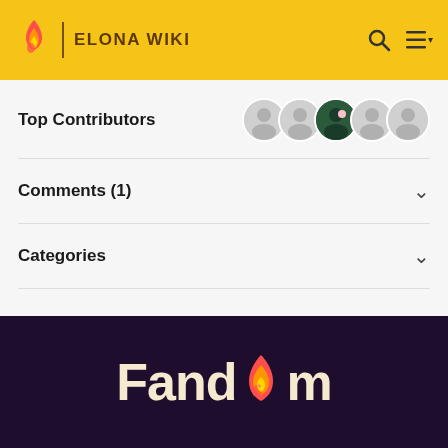ELONA WIKI
Top Contributors
Comments (1)
Categories
Community content is available under CC-BY-SA unless otherwise noted.
Fandom